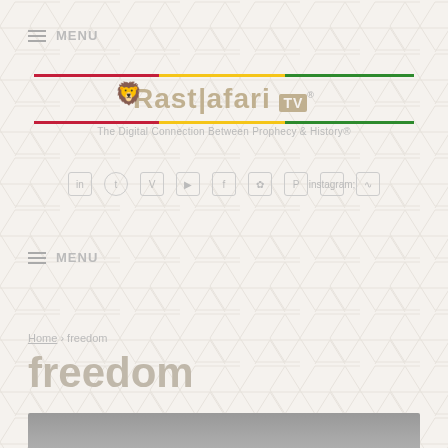≡ MENU
[Figure (logo): Rastafari.TV logo with lion graphic, colored stripe (red/yellow/green), and tagline 'The Digital Connection Between Prophecy & History']
[Figure (infographic): Row of social media icons: LinkedIn, Twitter, Vimeo, YouTube, Facebook, Flickr, Pinterest, Instagram, RSS]
≡ MENU
Home › freedom
freedom
[Figure (photo): Grayscale photo partially visible at bottom of page]